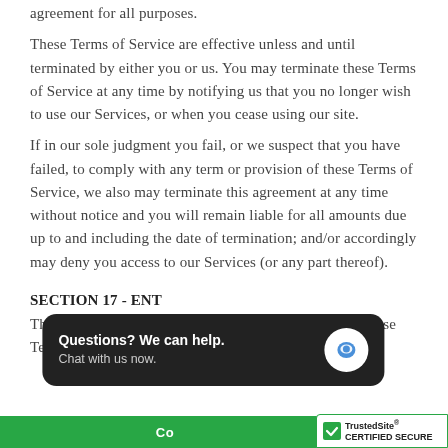agreement for all purposes.
These Terms of Service are effective unless and until terminated by either you or us. You may terminate these Terms of Service at any time by notifying us that you no longer wish to use our Services, or when you cease using our site.
If in our sole judgment you fail, or we suspect that you have failed, to comply with any term or provision of these Terms of Service, we also may terminate this agreement at any time without notice and you will remain liable for all amounts due up to and including the date of termination; and/or accordingly may deny you access to our Services (or any part thereof).
SECTION 17 - ENT...
The failure of us t... ght or provision of these Terms of Service shall not const...